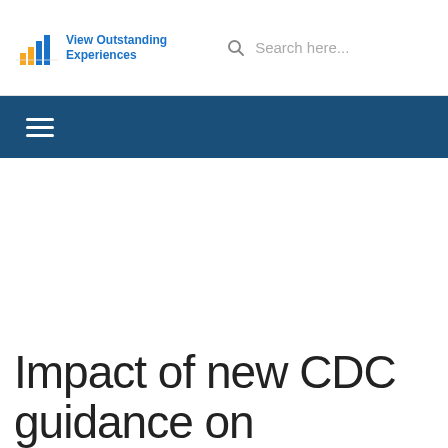View Outstanding Experiences | Search here...
Impact of new CDC guidance on